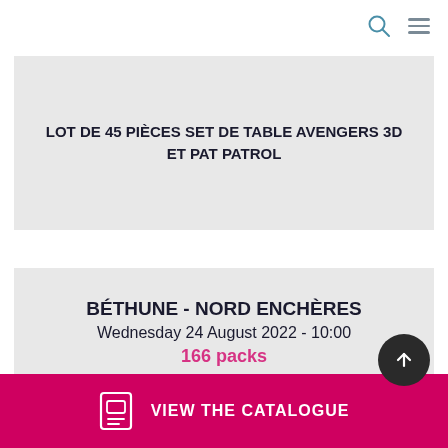[Figure (screenshot): Navigation bar with search icon and hamburger menu icon in top right]
LOT DE 45 PIÈCES SET DE TABLE AVENGERS 3D ET PAT PATROL
BÉTHUNE - NORD ENCHÈRES
Wednesday 24 August 2022 - 10:00
166 packs
ONLINE - PALETTES,SOLDERIE ET DIVERS
VIEW THE CATALOGUE